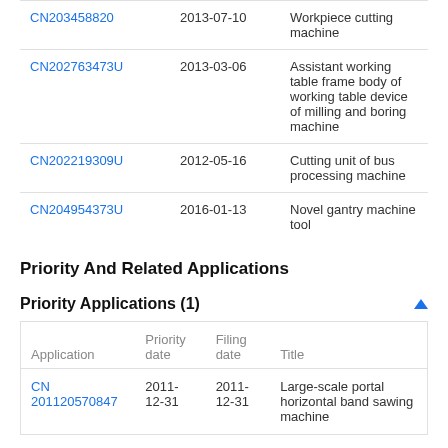|  | Date | Title |
| --- | --- | --- |
| CN203458820 | 2013-07-10 | Workpiece cutting machine |
| CN202763473U | 2013-03-06 | Assistant working table frame body of working table device of milling and boring machine |
| CN202219309U | 2012-05-16 | Cutting unit of bus processing machine |
| CN204954373U | 2016-01-13 | Novel gantry machine tool |
Priority And Related Applications
Priority Applications (1)
| Application | Priority date | Filing date | Title |
| --- | --- | --- | --- |
| CN 201120570847 | 2011-12-31 | 2011-12-31 | Large-scale portal horizontal band sawing machine |